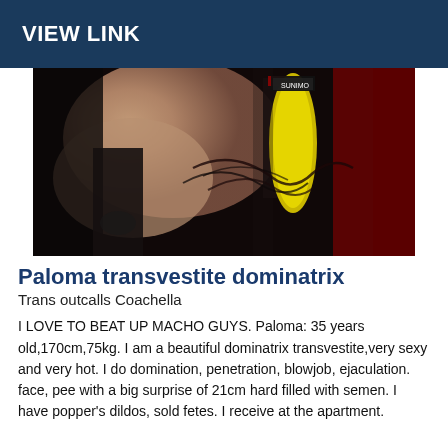VIEW LINK
[Figure (photo): Close-up photo showing a person's neck/chin area with a cursive tattoo, alongside a yellow bottle/vial and dark red background items on a table surface.]
Paloma transvestite dominatrix
Trans outcalls Coachella
I LOVE TO BEAT UP MACHO GUYS. Paloma: 35 years old,170cm,75kg. I am a beautiful dominatrix transvestite,very sexy and very hot. I do domination, penetration, blowjob, ejaculation. face, pee with a big surprise of 21cm hard filled with semen. I have popper's dildos, sold fetes. I receive at the apartment.